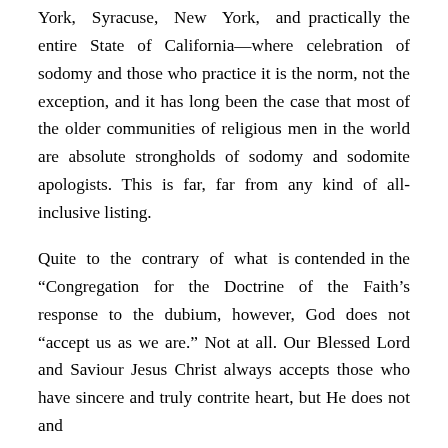York, Syracuse, New York, and practically the entire State of California—where celebration of sodomy and those who practice it is the norm, not the exception, and it has long been the case that most of the older communities of religious men in the world are absolute strongholds of sodomy and sodomite apologists. This is far, far from any kind of all-inclusive listing.
Quite to the contrary of what is contended in the “Congregation for the Doctrine of the Faith’s response to the dubium, however, God does not “accept us as we are.” Not at all. Our Blessed Lord and Saviour Jesus Christ always accepts those who have sincere and truly contrite heart, but He does not and